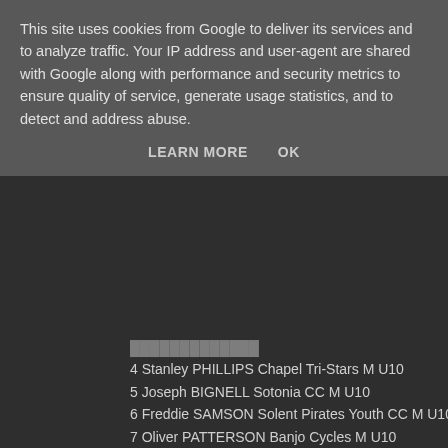This site uses cookies from Google to deliver its services and to analyze traffic. Your IP address and user-agent are shared with Google along with performance and security metrics to ensure quality of service, generate usage statistics, and to detect and address abuse.
LEARN MORE    OK
4 Stanley PHILLIPS Chapel Tri-Stars M U10
5 Joseph BIGNELL Sotonia CC M U10
6 Freddie SAMSON Solent Pirates Youth CC M U10
7 Oliver PATTERSON Banjo Cycles M U10
8 Guy RORKE M U10
9 William GOOCH Pedal Heaven Kis M U10
10 Harry COOPER private member M U10
11 Daniel BRANFORD Poole Wheelers CC M U10
12 Finlay BANKS Sotonia CC M U10
13 Isla PATTINSON Solent Pirates Youth CC F U10
14 George MEYNELL Cotswold Veldrijden M U10
15 Thomas WILKS Sotonia CC M U10
16 Phoebe POTTER WyndyMilla Kids F U10
17 Maximillian ATKINS Cotswold Veldrijden M U10
18 Thomas ALLEN Sotonia CC M U10
19 Adam SHORT Cotswold Veldrijden M U10